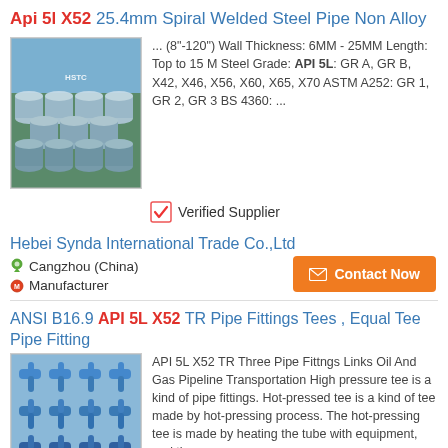Api 5l X52 25.4mm Spiral Welded Steel Pipe Non Alloy
[Figure (photo): Photo of spiral welded steel pipes stacked together outdoors with HSTC branding]
... (8"-120") Wall Thickness: 6MM - 25MM Length: Top to 15 M Steel Grade: API 5L: GR A, GR B, X42, X46, X56, X60, X65, X70 ASTM A252: GR 1, GR 2, GR 3 BS 4360: ...
Verified Supplier
Hebei Synda International Trade Co.,Ltd
Cangzhou (China)
Manufacturer
Contact Now
ANSI B16.9 API 5L X52 TR Pipe Fittings Tees , Equal Tee Pipe Fitting
[Figure (photo): Photo of blue pipe fittings tee connectors]
API 5L X52 TR Three Pipe Fittngs Links Oil And Gas Pipeline Transportation High pressure tee is a kind of pipe fittings. Hot-pressed tee is a kind of tee made by hot-pressing process. The hot-pressing tee is made by heating the tube with equipment, and the...